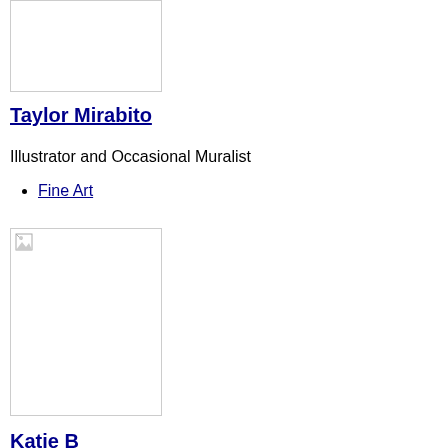[Figure (photo): Top artist profile image placeholder, white rectangle with border]
Taylor Mirabito
Illustrator and Occasional Muralist
Fine Art
[Figure (photo): Second artist profile image placeholder with broken image icon]
Katie B